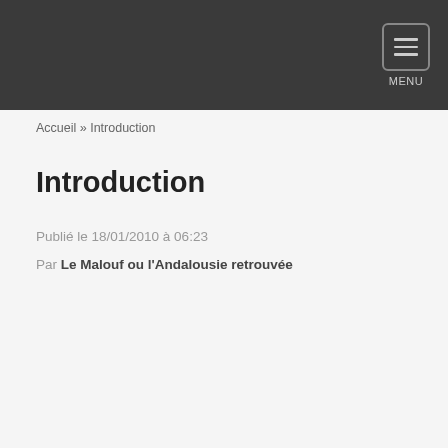MENU
Accueil » Introduction
Introduction
Publié le 18/01/2010 à 06:23
Par Le Malouf ou l'Andalousie retrouvée